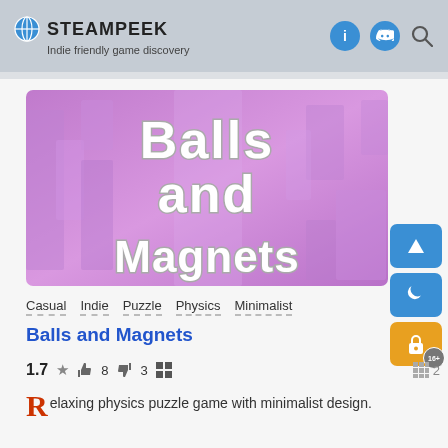STEAMPEEK — Indie friendly game discovery
[Figure (screenshot): Game artwork for Balls and Magnets showing the game title in large white outlined letters on a purple abstract block background]
Casual   Indie   Puzzle   Physics   Minimalist
Balls and Magnets
1.7 ★  👍 8  👎 3  🪟   🟦 2
Relaxing physics puzzle game with minimalist design.